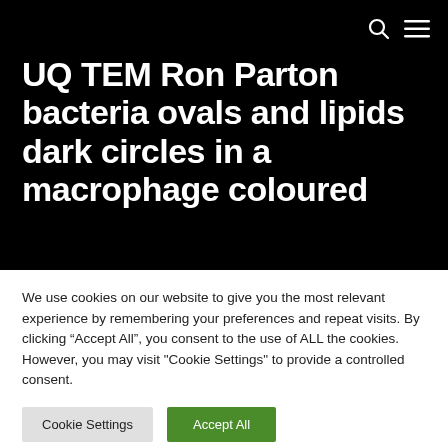UQ TEM Ron Parton bacteria ovals and lipids dark circles in a macrophage coloured
UQ TEM Ron Parton bacteria ovals and lipids dark circles in a macrophage coloured
We use cookies on our website to give you the most relevant experience by remembering your preferences and repeat visits. By clicking “Accept All”, you consent to the use of ALL the cookies. However, you may visit "Cookie Settings" to provide a controlled consent.